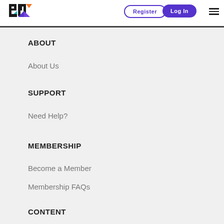PMI logo | Register | Log In | Menu
ABOUT
About Us
SUPPORT
Need Help?
MEMBERSHIP
Become a Member
Membership FAQs
CONTENT
Submit Content